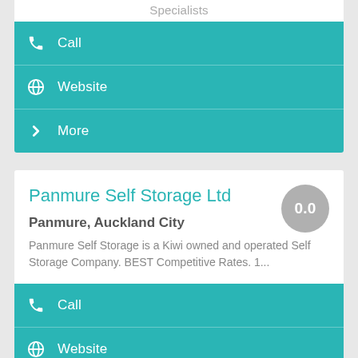Specialists
Call
Website
More
Panmure Self Storage Ltd
0.0
Panmure, Auckland City
Panmure Self Storage is a Kiwi owned and operated Self Storage Company. BEST Competitive Rates. 1...
Call
Website